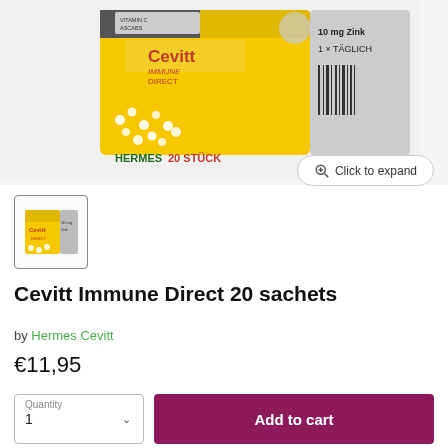[Figure (photo): Product photo of Cevitt Immune Direct 20 sachets box (yellow packaging) with text '10 mg Zink', '1x TÄGLICH', 'HERMES', '20 STÜCK']
[Figure (screenshot): Click to expand button with magnifier icon]
[Figure (photo): Thumbnail image of Cevitt Immune Direct 20 sachets product box]
Cevitt Immune Direct 20 sachets
by Hermes Cevitt
€11,95
Quantity 1
Add to cart